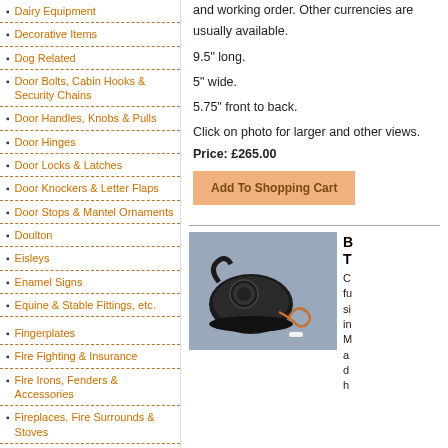Dairy Equipment
Decorative Items
Dog Related
Door Bolts, Cabin Hooks & Security Chains
Door Handles, Knobs & Pulls
Door Hinges
Door Locks & Latches
Door Knockers & Letter Flaps
Door Stops & Mantel Ornaments
Doulton
Eisleys
Enamel Signs
Equine & Stable Fittings, etc.
Fingerplates
Fire Fighting & Insurance
Fire Irons, Fenders & Accessories
Fireplaces, Fire Surrounds & Stoves
Fishing Tackle
Footwarmers and Bed Warming Pans
Furniture
Furniture Handles and Fittings
and working order. Other currencies are usually available.
9.5" long.
5" wide.
5.75" front to back.
Click on photo for larger and other views.
Price: £265.00
[Figure (photo): Black vintage telephone with handset cord on a blue-grey background]
Classic black telephone, fully working, single piece design with circular dial. Made available, decorative, h...